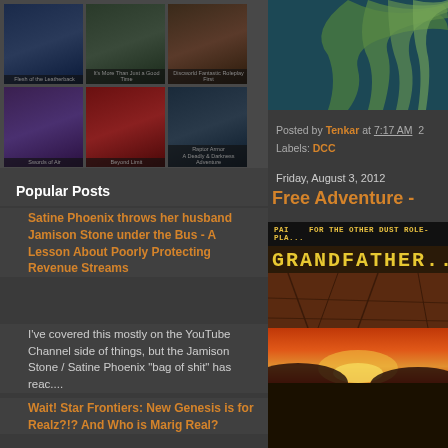[Figure (screenshot): Grid of book/game covers in two rows of three, shown as thumbnails with captions below each]
Popular Posts
Satine Phoenix throws her husband Jamison Stone under the Bus - A Lesson About Poorly Protecting Revenue Streams
I've covered this mostly on the YouTube Channel side of things, but the Jamison Stone / Satine Phoenix "bag of shit" has reac....
Wait! Star Frontiers: New Genesis is for Realz?!? And Who is Marig Real?
[Figure (photo): Dragon claw / creature illustration on dark teal background]
Posted by Tenkar at 7:17 AM   2
Labels: DCC
Friday, August 3, 2012
Free Adventure -
[Figure (photo): Book cover for Grandfather - PAI For the Other Dust role-playing game, showing cracked earth and fiery sunset landscape]